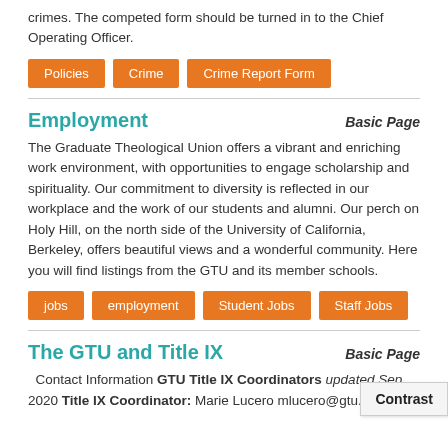crimes. The competed form should be turned in to the Chief Operating Officer.
Policies
Crime
Crime Report Form
Employment
Basic Page
The Graduate Theological Union offers a vibrant and enriching work environment, with opportunities to engage scholarship and spirituality. Our commitment to diversity is reflected in our workplace and the work of our students and alumni. Our perch on Holy Hill, on the north side of the University of California, Berkeley, offers beautiful views and a wonderful community. Here you will find listings from the GTU and its member schools.
jobs
employment
Student Jobs
Staff Jobs
The GTU and Title IX
Basic Page
Contact Information GTU Title IX Coordinators updated Sep 2020 Title IX Coordinator: Marie Lucero mlucero@gtu.edu 2...